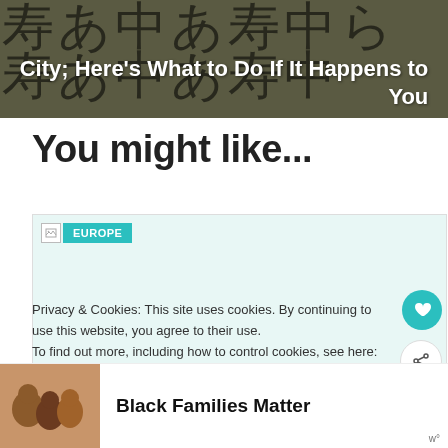[Figure (photo): Hero image with Japanese calligraphy characters in background, white text overlay reading 'City; Here's What to Do If It Happens to You']
You might like...
[Figure (photo): Card with broken image icon and EUROPE teal badge label]
Privacy & Cookies: This site uses cookies. By continuing to use this website, you agree to their use.
To find out more, including how to control cookies, see here: Cookie Policy
[Figure (photo): Advertisement banner showing smiling Black family with text 'Black Families Matter']